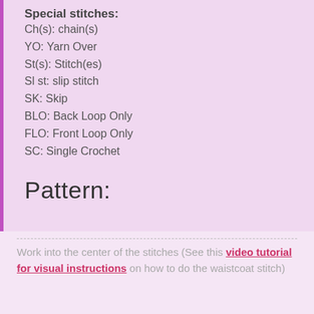Special stitches:
Ch(s): chain(s)
YO: Yarn Over
St(s): Stitch(es)
Sl st: slip stitch
SK: Skip
BLO: Back Loop Only
FLO: Front Loop Only
SC: Single Crochet
Pattern:
Work into the center of the stitches (See this video tutorial for visual instructions on how to do the waistcoat stitch)